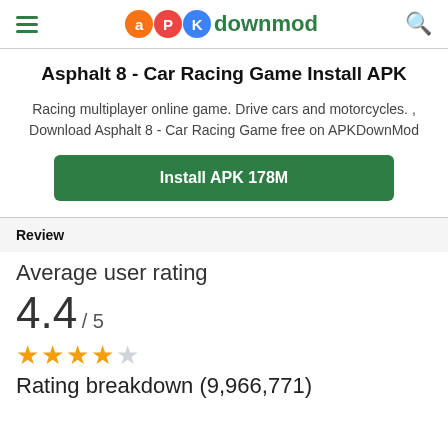APKdownmod
Asphalt 8 - Car Racing Game Install APK
Racing multiplayer online game. Drive cars and motorcycles. , Download Asphalt 8 - Car Racing Game free on APKDownMod
Install APK 178M
Review
Average user rating
4.4 / 5
Rating breakdown (9,966,771)